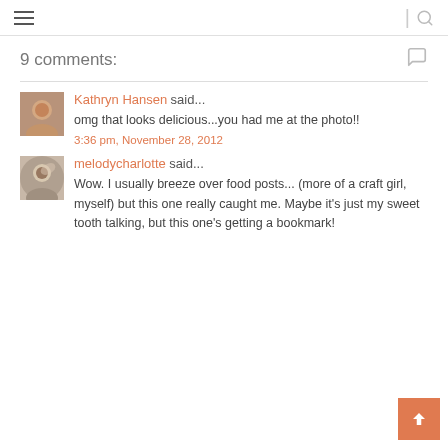≡ | 🔍
9 comments:
Kathryn Hansen said... omg that looks delicious...you had me at the photo!! 3:36 pm, November 28, 2012
melodycharlotte said... Wow. I usually breeze over food posts... (more of a craft girl, myself) but this one really caught me. Maybe it's just my sweet tooth talking, but this one's getting a bookmark!